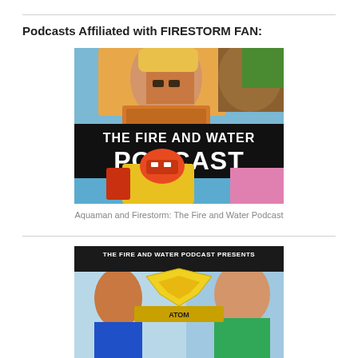Podcasts Affiliated with FIRESTORM FAN:
[Figure (illustration): Podcast cover art for 'The Fire and Water Podcast' featuring Aquaman (top) and Firestorm (bottom) comic characters with bold white text on black band reading 'THE FIRE AND WATER PODCAST']
Aquaman and Firestorm: The Fire and Water Podcast
[Figure (illustration): Podcast cover art for 'The Fire and Water Podcast Presents' with yellow chevron/hawk logo and comic characters in background, text reads 'THE FIRE AND WATER PODCAST PRESENTS']